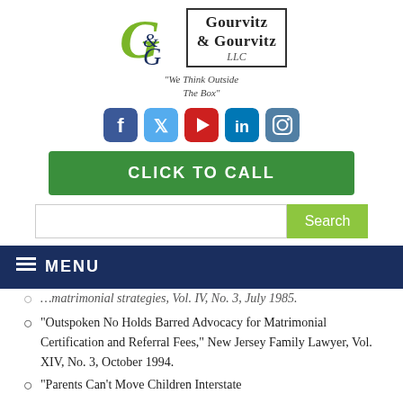[Figure (logo): Gourvitz & Gourvitz LLC law firm logo with stylized G monogram and text, tagline 'We Think Outside The Box', social media icons (Facebook, Twitter, YouTube, LinkedIn, Instagram), green CLICK TO CALL button, and search bar]
...matrimonial strategies, Vol. IV, No. 3, July 1985.
"Outspoken No Holds Barred Advocacy for Matrimonial Certification and Referral Fees," New Jersey Family Lawyer, Vol. XIV, No. 3, October 1994.
"Parents Can't Move Children Interstate